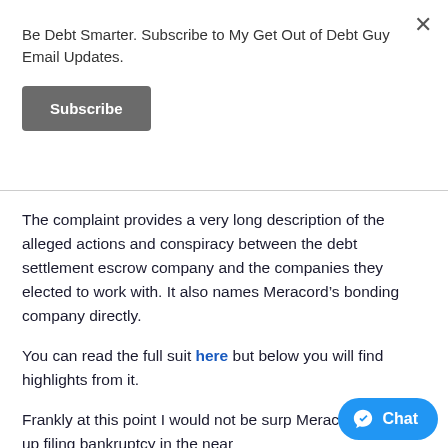Be Debt Smarter. Subscribe to My Get Out of Debt Guy Email Updates.
Subscribe
The complaint provides a very long description of the alleged actions and conspiracy between the debt settlement escrow company and the companies they elected to work with. It also names Meracord’s bonding company directly.
You can read the full suit here but below you will find highlights from it.
Frankly at this point I would not be surp... Meracord wound up filing bankruptcy in the near